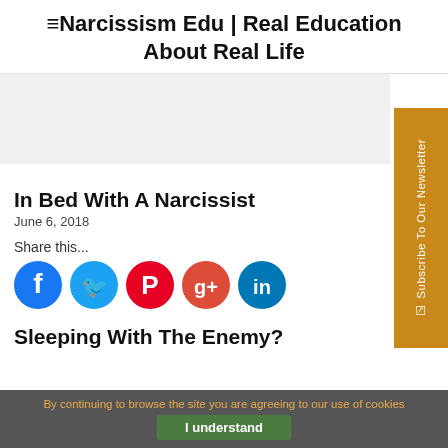≡Narcissism Edu | Real Education About Real Life
[Figure (other): Advertisement banner placeholder (gray rectangle)]
In Bed With A Narcissist
June 6, 2018
Share this...
[Figure (infographic): Social share icons: Facebook (blue), Twitter (light blue), Pinterest (red), Google+ (red-orange), LinkedIn (blue)]
Sleeping With The Enemy?
By continuing to browse the site you are agreeing to our use of cookies
I understand